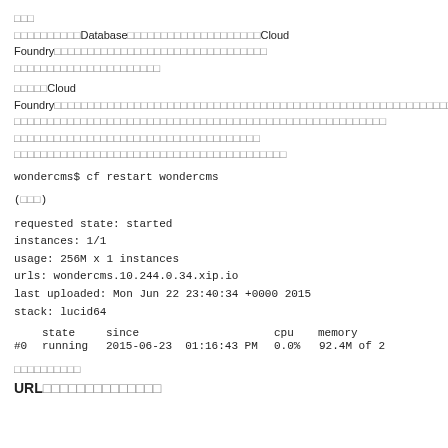□□□
□□□□□□□□□□Database□□□□□□□□□□□□□□□□□Cloud Foundry□□□□□□□□□□□□□□□□□□□□□□□□□□□□
□□□□□Cloud Foundry□□□□□□□□□□□□□□□□□□□□□□□□□□□□□□□□□□□□□□□□□□□□□□□□□□□□□□□□□□□□□□□□□
□□□□□□□□□□□□□□□□□
□□□□□□□□□□□□□□□□□□□□□□□□□□□
wondercms$ cf restart wondercms
(□□□)
requested state: started
instances: 1/1
usage: 256M x 1 instances
urls: wondercms.10.244.0.34.xip.io
last uploaded: Mon Jun 22 23:40:34 +0000 2015
stack: lucid64
|  | state | since | cpu | memory |
| --- | --- | --- | --- | --- |
| #0 | running | 2015-06-23  01:16:43 PM | 0.0% | 92.4M of 2 |
□□□□□□□□□□
URL□□□□□□□□□□□□□□